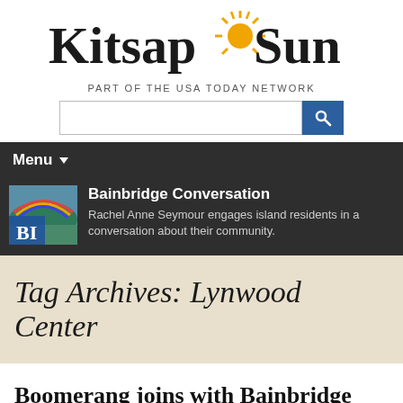[Figure (logo): Kitsap Sun logo with sun rays between 'Kitsap' and 'Sun' text]
PART OF THE USA TODAY NETWORK
[Figure (screenshot): Search input box with blue search button containing magnifying glass icon]
Menu
Bainbridge Conversation
Rachel Anne Seymour engages island residents in a conversation about their community.
Tag Archives: Lynwood Center
Boomerang joins with Bainbridge Performing Arts